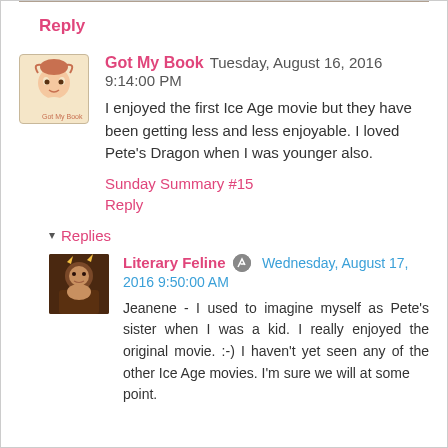Reply
Got My Book  Tuesday, August 16, 2016 9:14:00 PM
I enjoyed the first Ice Age movie but they have been getting less and less enjoyable. I loved Pete's Dragon when I was younger also.
Sunday Summary #15
Reply
▾ Replies
Literary Feline  Wednesday, August 17, 2016 9:50:00 AM
Jeanene - I used to imagine myself as Pete's sister when I was a kid. I really enjoyed the original movie. :-) I haven't yet seen any of the other Ice Age movies. I'm sure we will at some point.